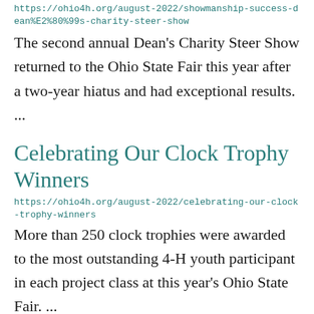https://ohio4h.org/august-2022/showmanship-success-dean%E2%80%99s-charity-steer-show
The second annual Dean’s Charity Steer Show returned to the Ohio State Fair this year after a two-year hiatus and had exceptional results. ...
Celebrating Our Clock Trophy Winners
https://ohio4h.org/august-2022/celebrating-our-clock-trophy-winners
More than 250 clock trophies were awarded to the most outstanding 4-H youth participant in each project class at this year’s Ohio State Fair. ...